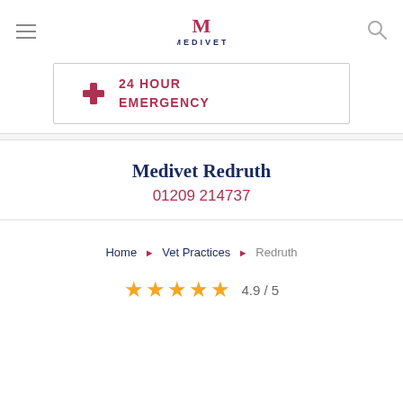MEDIVET
[Figure (logo): Medivet logo with stylized M and MEDIVET text]
24 HOUR EMERGENCY
Medivet Redruth
01209 214737
Home > Vet Practices > Redruth
4.9 / 5